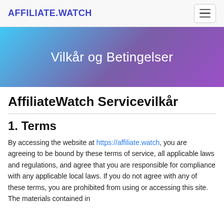AFFILIATE.WATCH
Vilkår og Betingelser
AffiliateWatch Servicevilkår
1. Terms
By accessing the website at https://affiliate.watch, you are agreeing to be bound by these terms of service, all applicable laws and regulations, and agree that you are responsible for compliance with any applicable local laws. If you do not agree with any of these terms, you are prohibited from using or accessing this site. The materials contained in